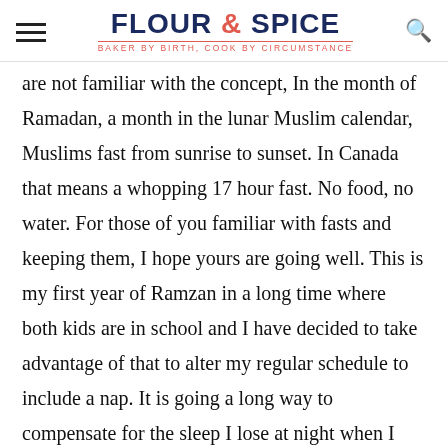FLOUR & SPICE — BAKER BY BIRTH, COOK BY CIRCUMSTANCE
are not familiar with the concept, In the month of Ramadan, a month in the lunar Muslim calendar, Muslims fast from sunrise to sunset. In Canada that means a whopping 17 hour fast. No food, no water. For those of you familiar with fasts and keeping them, I hope yours are going well. This is my first year of Ramzan in a long time where both kids are in school and I have decided to take advantage of that to alter my regular schedule to include a nap. It is going a long way to compensate for the sleep I lose at night when I wake up for Sehri/Suhoor (the predawn meal).